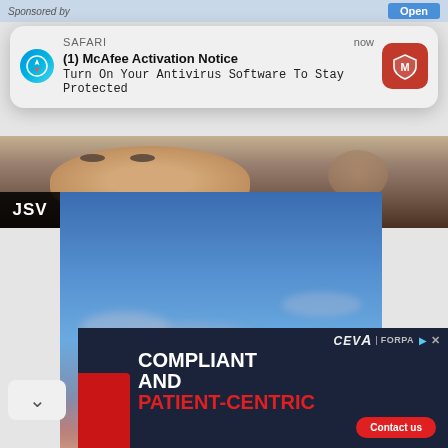Sponsored by
Open
[Figure (screenshot): iOS Safari push notification popup showing McAfee Activation Notice: 'Turn On Your Antivirus Software To Stay Protected' with McAfee red shield logo icon, app label SAFARI, timestamp now]
[Figure (photo): Close-up photo of an elderly man's face, slightly out of focus]
JSV
[Figure (photo): Sky photo with blue sky, scattered clouds, and sunset tones at the horizon with two dark circular objects visible]
∨
[Figure (screenshot): CEVA Logistics | FORPA advertisement banner with dark navy background. Text: COMPLIANT AND PATIENT-CENTRIC with Contact us red button]